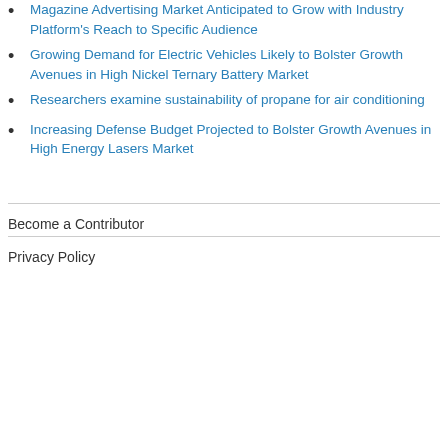Magazine Advertising Market Anticipated to Grow with Industry Platform's Reach to Specific Audience
Growing Demand for Electric Vehicles Likely to Bolster Growth Avenues in High Nickel Ternary Battery Market
Researchers examine sustainability of propane for air conditioning
Increasing Defense Budget Projected to Bolster Growth Avenues in High Energy Lasers Market
Become a Contributor
Privacy Policy